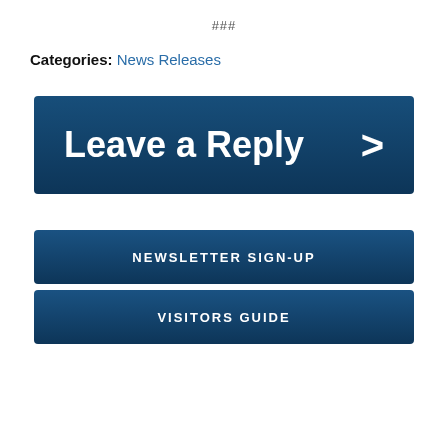###
Categories: News Releases
[Figure (other): Blue button with text 'Leave a Reply' and a right-pointing chevron arrow]
[Figure (other): Blue button with text 'NEWSLETTER SIGN-UP']
[Figure (other): Blue button with text 'VISITORS GUIDE']